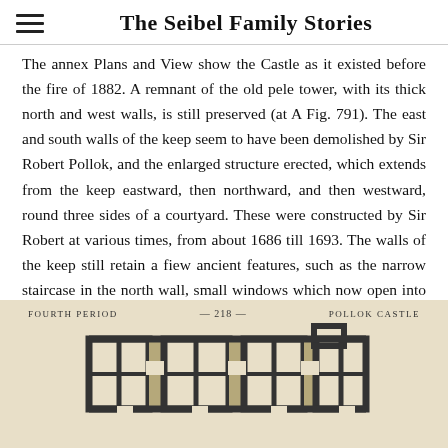The Seibel Family Stories
The annex Plans and View show the Castle as it existed before the fire of 1882. A remnant of the old pele tower, with its thick north and west walls, is still preserved (at A Fig. 791). The east and south walls of the keep seem to have been demolished by Sir Robert Pollok, and the enlarged structure erected, which extends from the keep eastward, then northward, and then westward, round three sides of a courtyard. These were constructed by Sir Robert at various times, from about 1686 till 1693. The walls of the keep still retain a fiew ancient features, such as the narrow staircase in the north wall, small windows which now open into the new hall, and a kind of cupboard or hiding-place. The extended structure has at first consisted principally of
[Figure (engineering-diagram): Floor plan of Pollok Castle showing the fourth period layout, labeled with 'FOURTH PERIOD', '— 218 —', and 'POLLOK CASTLE'. The plan shows a rectangular layout with thick walls forming rooms around a courtyard.]